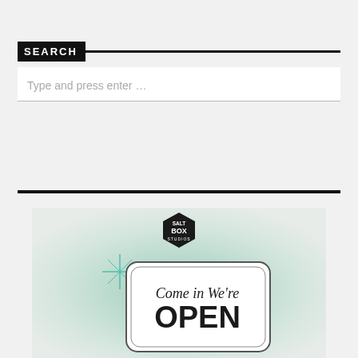SEARCH
Type and press enter …
[Figure (illustration): Salt Box Studios logo (black hexagon with white text) above a retro 'Come in We're OPEN' sign with a teal sparkle star, on a light mint/cream radial gradient background.]